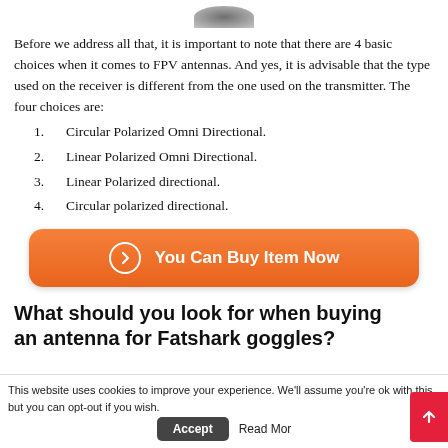[Figure (photo): Partial view of a dark-colored FPV antenna or drone component, cropped at top of page]
Before we address all that, it is important to note that there are 4 basic choices when it comes to FPV antennas. And yes, it is advisable that the type used on the receiver is different from the one used on the transmitter. The four choices are:
1. Circular Polarized Omni Directional.
2. Linear Polarized Omni Directional.
3. Linear Polarized directional.
4. Circular polarized directional.
[Figure (other): Orange rounded button labeled 'You Can Buy Item Now' with a circle arrow icon]
What should you look for when buying an antenna for Fatshark goggles?
This website uses cookies to improve your experience. We'll assume you're ok with this, but you can opt-out if you wish.